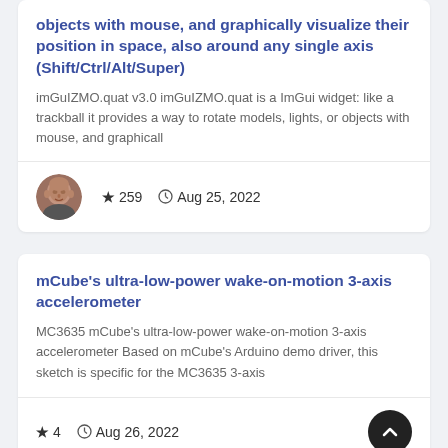objects with mouse, and graphically visualize their position in space, also around any single axis (Shift/Ctrl/Alt/Super)
imGuIZMO.quat v3.0 imGuIZMO.quat is a ImGui widget: like a trackball it provides a way to rotate models, lights, or objects with mouse, and graphicall
[Figure (photo): Circular avatar photo of a person (bald man)]
★ 259   🕐 Aug 25, 2022
mCube's ultra-low-power wake-on-motion 3-axis accelerometer
MC3635 mCube's ultra-low-power wake-on-motion 3-axis accelerometer Based on mCube's Arduino demo driver, this sketch is specific for the MC3635 3-axis
★ 4   🕐 Aug 26, 2022